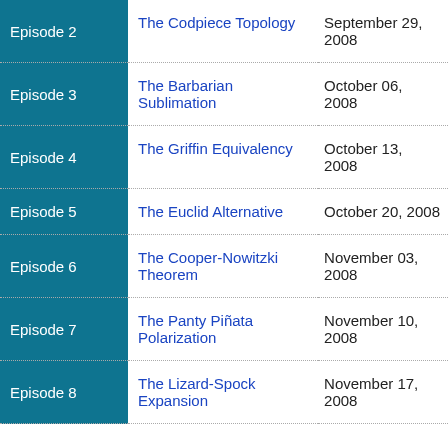| Episode | Title | Air Date |
| --- | --- | --- |
| Episode 2 | The Codpiece Topology | September 29, 2008 |
| Episode 3 | The Barbarian Sublimation | October 06, 2008 |
| Episode 4 | The Griffin Equivalency | October 13, 2008 |
| Episode 5 | The Euclid Alternative | October 20, 2008 |
| Episode 6 | The Cooper-Nowitzki Theorem | November 03, 2008 |
| Episode 7 | The Panty Piñata Polarization | November 10, 2008 |
| Episode 8 | The Lizard-Spock Expansion | November 17, 2008 |